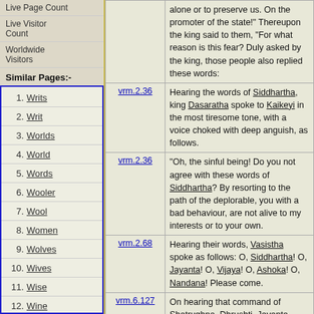Live Page Count
Live Visitor Count
Worldwide Visitors
Similar Pages:-
1. Writs
2. Writ
3. Worlds
4. World
5. Words
6. Wooler
7. Wool
8. Women
9. Wolves
10. Wives
11. Wise
12. Wine
13. Winds
14. Wind
15. Wildcats
|  | ref | text |
| --- | --- | --- |
|  |  | alone or to preserve us. On the promoter of the state!" Thereupon the king said to them, "For what reason is this fear? Duly asked by the king, those people also replied these words: |
|  | vrm.2.36 | Hearing the words of Siddhartha, king Dasaratha spoke to Kaikeyi in the most tiresome tone, with a voice choked with deep anguish, as follows. |
|  | vrm.2.36 | "Oh, the sinful being! Do you not agree with these words of Siddhartha? By resorting to the path of the deplorable, you with a bad behaviour, are not alive to my interests or to your own. |
|  | vrm.2.68 | Hearing their words, Vasistha spoke as follows: O, Siddhartha! O, Jayanta! O, Vijaya! O, Ashoka! O, Nandana! Please come. |
|  | vrm.6.127 | On hearing that command of Shatrughna, Dhrushti, Jayanta, Vijaya, Siddhartha, Arthasadhaka, Ashoka, Mantrapala and Sumantra proceeded with joy. |
|  |  | Ashoka, Vijaya and Siddhartha, with a great concern, discussed about... |